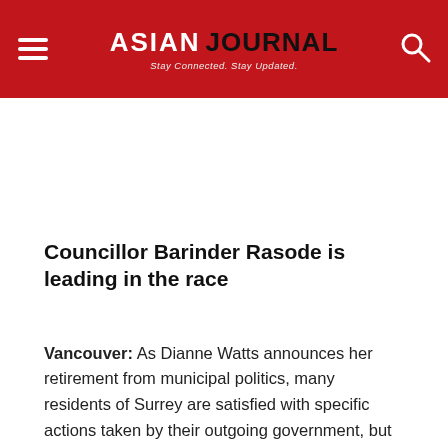ASIAN JOURNAL — Stay Connected. Stay Updated.
Councillor Barinder Rasode is leading in the race
Vancouver: As Dianne Watts announces her retirement from municipal politics, many residents of Surrey are satisfied with specific actions taken by their outgoing government, but also ready for change at City Hall, an Insights West poll has found.